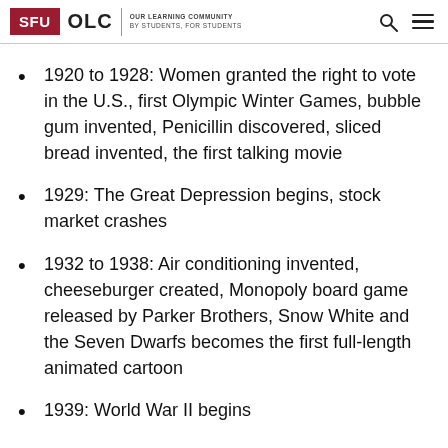SFU OLC | OUR LEARNING COMMUNITY BY STUDENTS, FOR STUDENTS
1920 to 1928: Women granted the right to vote in the U.S., first Olympic Winter Games, bubble gum invented, Penicillin discovered, sliced bread invented, the first talking movie
1929: The Great Depression begins, stock market crashes
1932 to 1938: Air conditioning invented, cheeseburger created, Monopoly board game released by Parker Brothers, Snow White and the Seven Dwarfs becomes the first full-length animated cartoon
1939: World War II begins